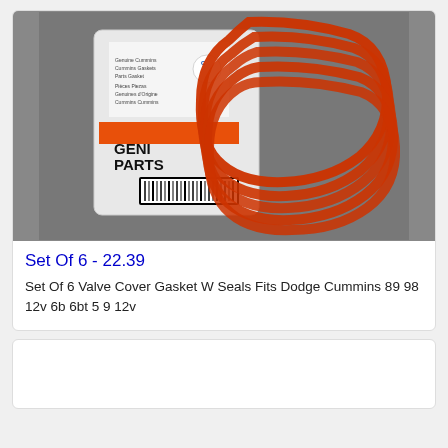[Figure (photo): Photo of a set of 6 orange/red rubber valve cover gaskets with seals next to a Cummins Genuine Parts packaging bag, on a gray background.]
Set Of 6 - 22.39
Set Of 6 Valve Cover Gasket W Seals Fits Dodge Cummins 89 98 12v 6b 6bt 5 9 12v
[Figure (photo): Partially visible second product card (empty/loading area at bottom of page).]